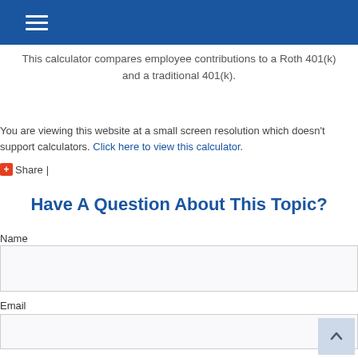This calculator compares employee contributions to a Roth 401(k) and a traditional 401(k).
You are viewing this website at a small screen resolution which doesn't support calculators. Click here to view this calculator.
+ Share |
Have A Question About This Topic?
Name
Email